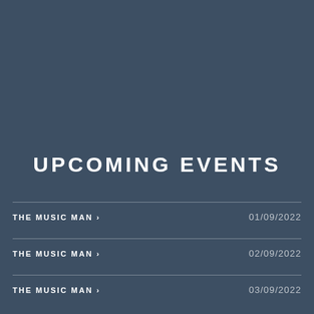UPCOMING EVENTS
THE MUSIC MAN > 01/09/2022
THE MUSIC MAN > 02/09/2022
THE MUSIC MAN > 03/09/2022